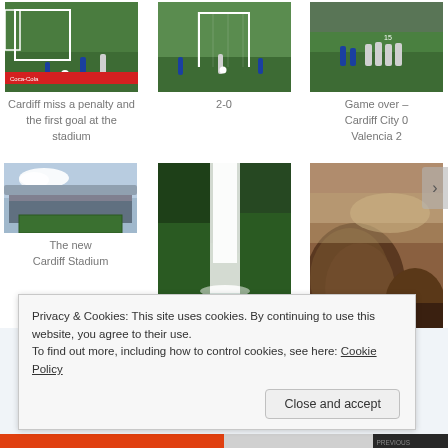[Figure (photo): Soccer match photo - Cardiff penalty miss]
[Figure (photo): Soccer match photo - 2-0 score]
[Figure (photo): Soccer match photo - Game over huddle]
Cardiff miss a penalty and the first goal at the stadium
2-0
Game over – Cardiff City 0 Valencia 2
[Figure (photo): The new Cardiff Stadium - exterior view]
[Figure (photo): Waterfall in lush green forest]
[Figure (photo): Rocks in sepia tones with mist]
The new Cardiff Stadium
Privacy & Cookies: This site uses cookies. By continuing to use this website, you agree to their use.
To find out more, including how to control cookies, see here: Cookie Policy
Close and accept